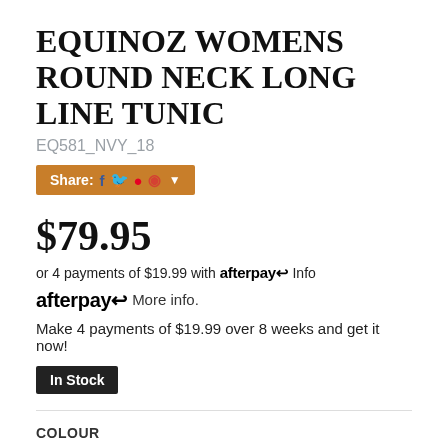EQUINOZ WOMENS ROUND NECK LONG LINE TUNIC
EQ581_NVY_18
[Figure (other): Share button bar with social media icons: Facebook, Twitter, Pinterest, Email, and a dropdown arrow, on an orange background]
$79.95
or 4 payments of $19.99 with afterpay Info
afterpay More info.
Make 4 payments of $19.99 over 8 weeks and get it now!
In Stock
COLOUR
NAVY